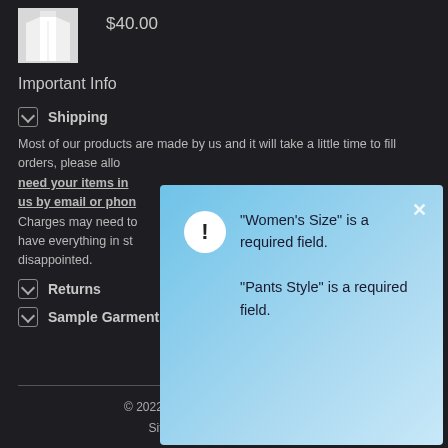[Figure (photo): Small product image of white garment/robe thumbnail]
$40.00
Important Info
Shipping
Most of our products are made by us and it will take a little time to fill orders, please allo... need your items in ... us by email or phon... Charges may need to... have everything in st... disappointed.
[Figure (screenshot): Error modal dialog with blue gradient background showing validation messages: "Women's Size" is a required field. "Pants Style" is a required field. Has white circle exclamation icon and X close button.]
Returns
Sample Garments
© 2022 New Covenant Worship, LLC.
Sitemap | Tulsa Web Design